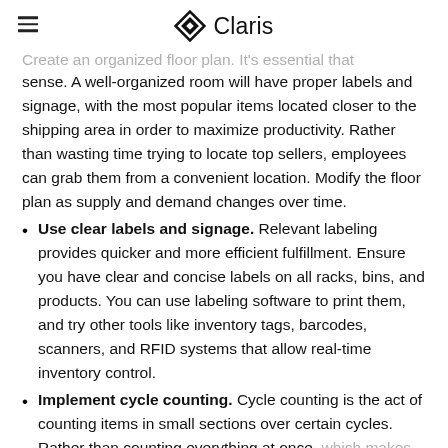Claris
sense. A well-organized room will have proper labels and signage, with the most popular items located closer to the shipping area in order to maximize productivity. Rather than wasting time trying to locate top sellers, employees can grab them from a convenient location. Modify the floor plan as supply and demand changes over time.
Use clear labels and signage. Relevant labeling provides quicker and more efficient fulfillment. Ensure you have clear and concise labels on all racks, bins, and products. You can use labeling software to print them, and try other tools like inventory tags, barcodes, scanners, and RFID systems that allow real-time inventory control.
Implement cycle counting. Cycle counting is the act of counting items in small sections over certain cycles. Rather than counting everything at once,